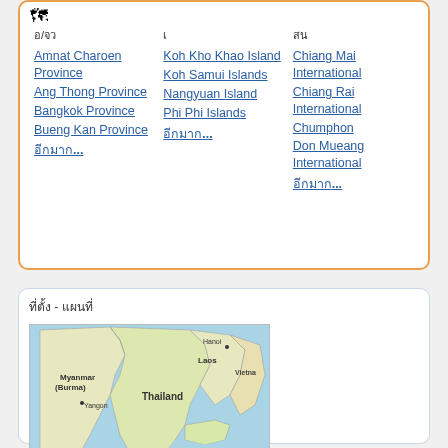อ/จว  Amnat Charoen Province
Ang Thong Province
Bangkok Province
Bueng Kan Province
อีกมาก...
เกาะ  Koh Kho Khao Island
Koh Samui Islands
Nangyuan Island
Phi Phi Islands
อีกมาก...
สน  Chiang Mai International
Chiang Rai International
Chumphon
Don Mueang International
อีกมาก...
ที่ตั้ง - แผนที่
[Figure (map): Map showing Thailand and surrounding countries: Myanmar (Burma), Laos, Vietnam, with cities Hanoi and Yangon marked]